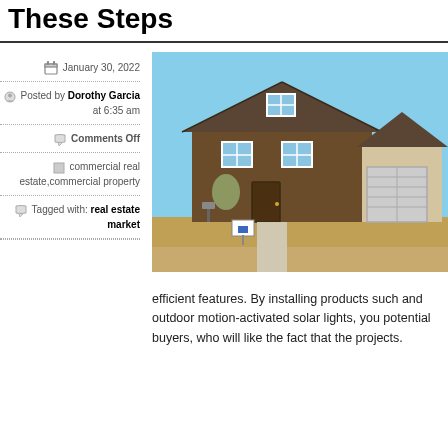These Steps
January 30, 2022
Posted by Dorothy Garcia at 6:35 am
Comments Off
commercial real estate,commercial property
Tagged with: real estate market
[Figure (photo): Exterior photo of a brown craftsman-style house with blue-trimmed windows, a garage, and a for-sale sign in the front yard with dead winter grass.]
efficient features. By installing products such and outdoor motion-activated solar lights, you potential buyers, who will like the fact that the projects.